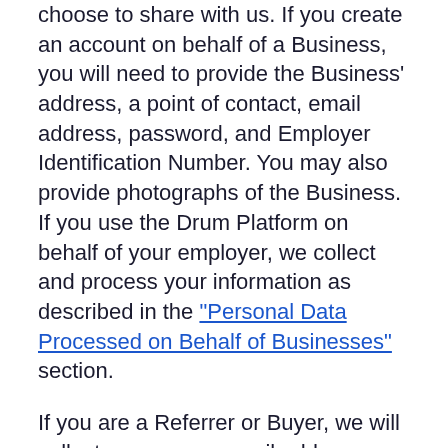choose to share with us. If you create an account on behalf of a Business, you will need to provide the Business' address, a point of contact, email address, password, and Employer Identification Number. You may also provide photographs of the Business. If you use the Drum Platform on behalf of your employer, we collect and process your information as described in the "Personal Data Processed on Behalf of Businesses" section.
If you are a Referrer or Buyer, we will collect your name, email address, username, password, and your contacts (where you consent to us doing so). You can also upload photos that may contain Personal Data through the Drum Platform.
If you are a Referrer, in addition to the information described in the preceding paragraph we will also collect the last four digits...